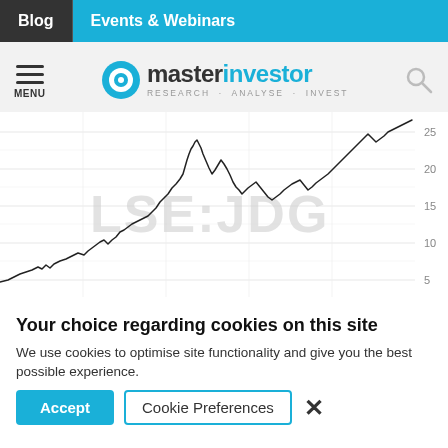Blog | Events & Webinars
[Figure (logo): Master Investor logo with circular target icon, tagline RESEARCH · ANALYSE · INVEST, hamburger menu icon with MENU label, and search icon]
[Figure (continuous-plot): LSE:JDG stock price line chart showing historical price data. Y-axis ranges from approximately 5 to 25. The line starts low around 5, rises to a peak near 17-18 in the middle, dips, then surges sharply to approximately 25 at the right. Watermark text 'LSE:JDG' visible on chart.]
Your choice regarding cookies on this site
We use cookies to optimise site functionality and give you the best possible experience.
Accept | Cookie Preferences | ×